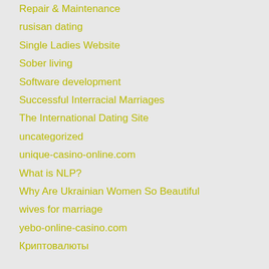Repair & Maintenance
rusisan dating
Single Ladies Website
Sober living
Software development
Successful Interracial Marriages
The International Dating Site
uncategorized
unique-casino-online.com
What is NLP?
Why Are Ukrainian Women So Beautiful
wives for marriage
yebo-online-casino.com
Криптовалюты